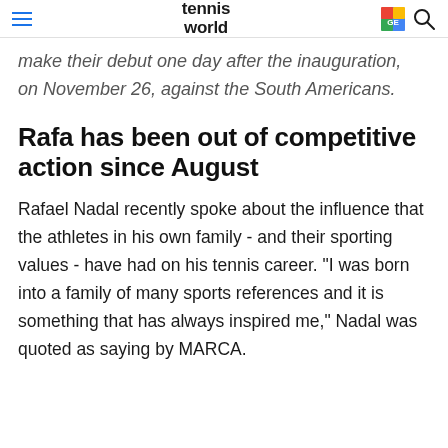tennis world
make their debut one day after the inauguration, on November 26, against the South Americans.
Rafa has been out of competitive action since August
Rafael Nadal recently spoke about the influence that the athletes in his own family - and their sporting values - have had on his tennis career. "I was born into a family of many sports references and it is something that has always inspired me," Nadal was quoted as saying by MARCA.